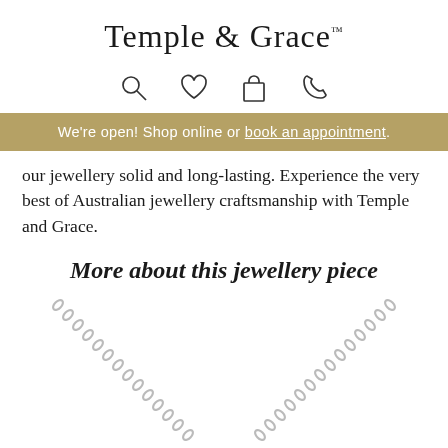Temple & Grace™
[Figure (illustration): Navigation icons: search (magnifying glass), heart/wishlist, shopping bag, phone]
We're open! Shop online or book an appointment.
our jewellery solid and long-lasting. Experience the very best of Australian jewellery craftsmanship with Temple and Grace.
More about this jewellery piece
[Figure (photo): Two silver chain necklaces shown from above, extending diagonally from upper left and upper right corners downward]